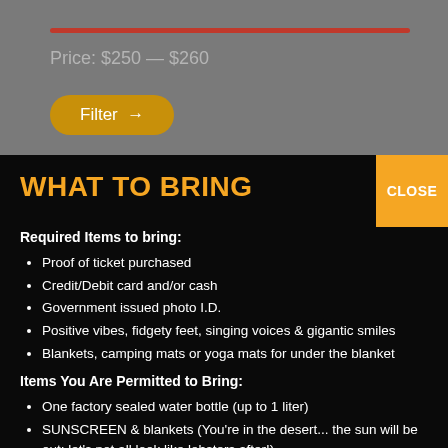Price: $250 — $260
Filter →
WHAT TO BRING
Required Items to bring:
Proof of ticket purchased
Credit/Debit card and/or cash
Government issued photo I.D.
Positive vibes, fidgety feet, singing voices & gigantic smiles
Blankets, camping mats or yoga mats for under the blanket
Items You Are Permitted to Bring:
One factory sealed water bottle (up to 1 liter)
SUNSCREEN & blankets (You're in the desert... the sun will be out; let's not all look like lobsters after!)